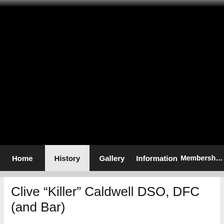[Figure (photo): Large black hero image with a faint tree/foliage strip visible at the very top edge]
Home | History | Gallery | Information | Membership
Clive “Killer” Caldwell DSO, DFC (and Bar)
Albion Park Schooled Aviator Becomes Australia’s Le National Ha...